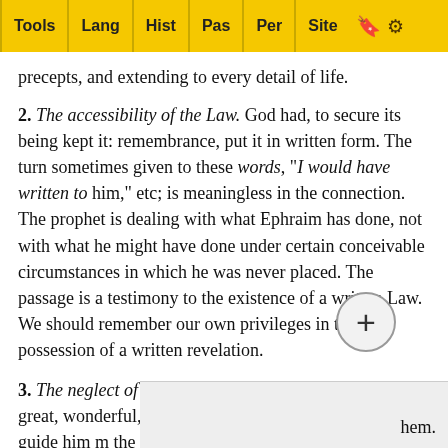Tools | Lang | Hist | Pas | Per | Site
precepts, and extending to every detail of life.
2. The accessibility of the Law. God had, to secure its being kept it: remembrance, put it in written form. The turn sometimes given to these words, "I would have written to him," etc; is meaningless in the connection. The prophet is dealing with what Ephraim has done, not with what he might have done under certain conceivable circumstances in which he was never placed. The passage is a testimony to the existence of a written Law. We should remember our own privileges in the possession of a written revelation.
3. The neglect of the Law. Ephraim permitted this Law, great, wonderful, and holy as it was, fitted to instruct and guide him in the way of life, to be as "a strange thing" unto him. He forbore to study it. He neglected to practice it. The very Law thus redounded to his condemnation. How many act in a simila... unope... hem.